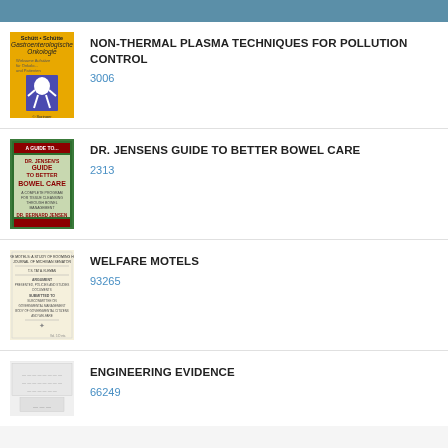NON-THERMAL PLASMA TECHNIQUES FOR POLLUTION CONTROL
3006
DR. JENSENS GUIDE TO BETTER BOWEL CARE
2313
WELFARE MOTELS
93265
ENGINEERING EVIDENCE
66249